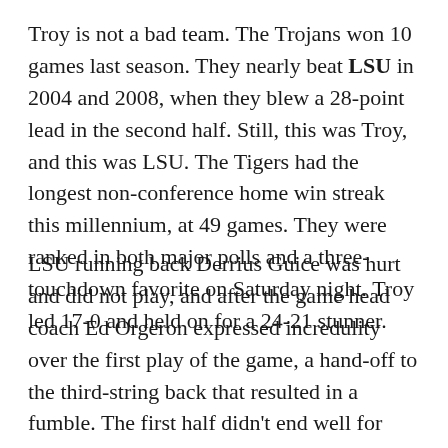Troy is not a bad team. The Trojans won 10 games last season. They nearly beat LSU in 2004 and 2008, when they blew a 28-point lead in the second half. Still, this was Troy, and this was LSU. The Tigers had the longest non-conference home win streak this millennium, at 49 games. They were ranked in both major polls and a three-touchdown favorite on Saturday night. Troy led 17-0 and held on for a 24-21 stunner.
LSU running back Derrius Guice was hurt and did not play, and after the game head coach Ed Orgeron expressed incredulity over the first play of the game, a hand-off to the third-string back that resulted in a fumble. The first half didn't end well for LSU either, as a bad call against Troy ended up helping the